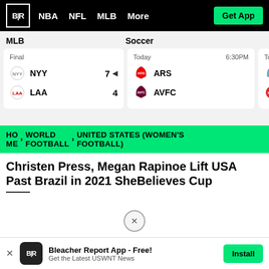B|R  NBA  NFL  MLB  More  Get App
MLB
Soccer
| Team | Score |
| --- | --- |
| NYY | 7 |
| LAA | 4 |
| Time | Team | Score |
| --- | --- | --- |
| Today 6:30PM | ARS |  |
|  | AVFC |  |
| Time | Team |
| --- | --- |
| Today | MCI |
|  | NFFC |
HOME > WORLD FOOTBALL > UNITED STATES (WOMEN'S FOOTBALL)
Christen Press, Megan Rapinoe Lift USA Past Brazil in 2021 SheBelieves Cup
Bleacher Report App - Free! Get the Latest USWNT News  Install